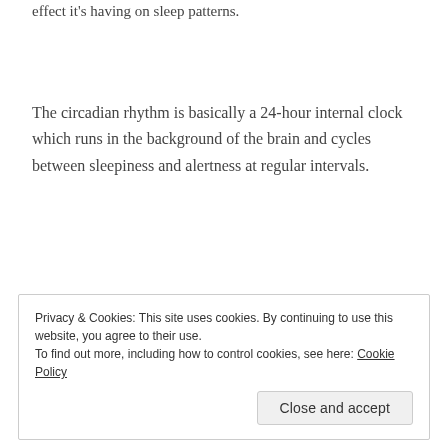effect it's having on sleep patterns.
The circadian rhythm is basically a 24-hour internal clock which runs in the background of the brain and cycles between sleepiness and alertness at regular intervals.
In short, it's our sleep/wake cycle.
Privacy & Cookies: This site uses cookies. By continuing to use this website, you agree to their use.
To find out more, including how to control cookies, see here: Cookie Policy
Close and accept